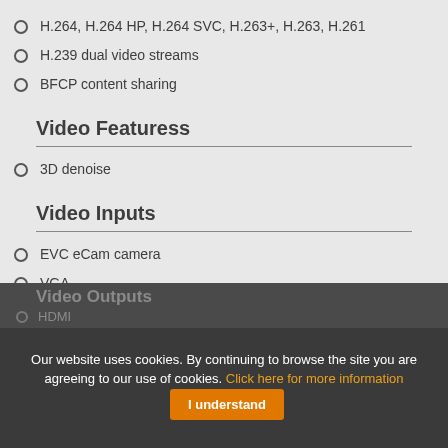H.264, H.264 HP, H.264 SVC, H.263+, H.263, H.261
H.239 dual video streams
BFCP content sharing
Video Featuress
3D denoise
Video Inputs
EVC eCam camera
VGA
DVI (HDMI)
Video Outputs
HDMI
VGA
Our website uses cookies. By continuing to browse the site you are agreeing to our use of cookies. Click here for more information  I understand